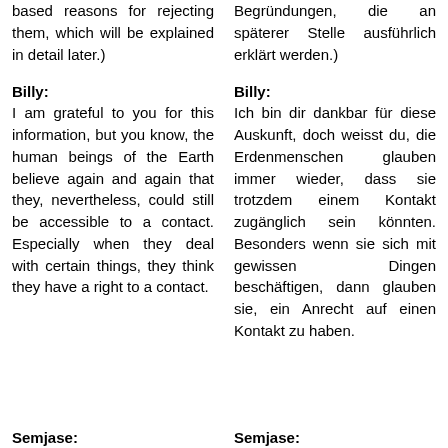based reasons for rejecting them, which will be explained in detail later.)
Begründungen, die an späterer Stelle ausführlich erklärt werden.)
Billy:
Billy:
I am grateful to you for this information, but you know, the human beings of the Earth believe again and again that they, nevertheless, could still be accessible to a contact. Especially when they deal with certain things, they think they have a right to a contact.
Ich bin dir dankbar für diese Auskunft, doch weisst du, die Erdenmenschen glauben immer wieder, dass sie trotzdem einem Kontakt zugänglich sein könnten. Besonders wenn sie sich mit gewissen Dingen beschäftigen, dann glauben sie, ein Anrecht auf einen Kontakt zu haben.
Semjase:
Semjase: